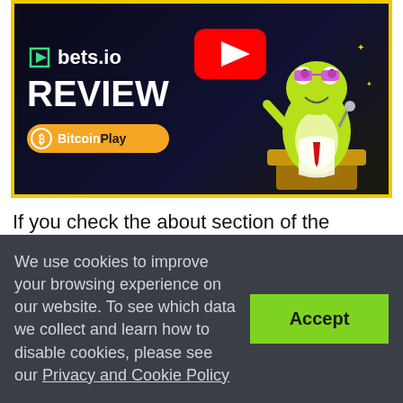[Figure (screenshot): YouTube video thumbnail for a Bets.io review by BitcoinPlay. Black background with the bets.io logo, large white REVIEW text, a YouTube play button, and an animated frog character on the right. Yellow border around thumbnail.]
If you check the about section of the Bets.io website, you'll see genuine enthusiasm and ambition in the writing. That's a good thing, since this betting site impresses players with its security, games, payment options, and welcome bonus.
We use cookies to improve your browsing experience on our website. To see which data we collect and learn how to disable cookies, please see our Privacy and Cookie Policy